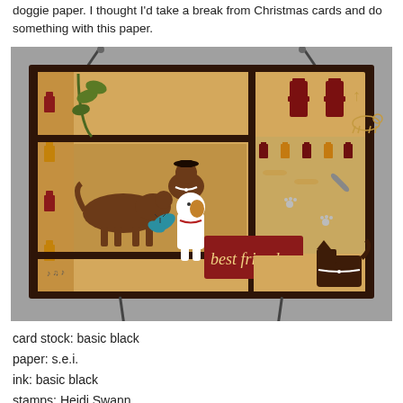doggie paper. I thought I'd take a break from Christmas cards and do something with this paper.
[Figure (photo): A handmade greeting card on an easel stand featuring dog-themed scrapbook paper in tan/beige with brown, red, and teal accents. The card shows cartoon dog silhouettes, fire hydrants, bones, paw prints, and a 'best friends' sentiment on a red tag. Multiple layered paper panels are arranged on a dark brown card base.]
card stock: basic black
paper: s.e.i.
ink: basic black
stamps: Heidi Swann